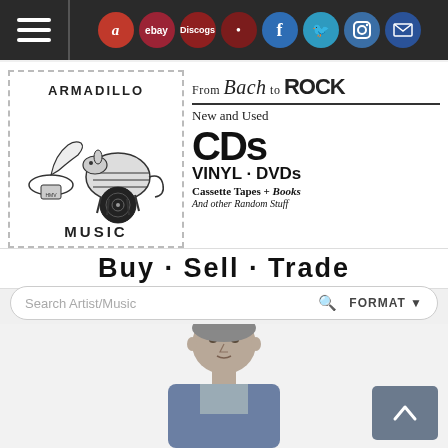Navigation bar with hamburger menu and social/marketplace icons: Amazon, eBay, Discogs, Facebook, Twitter, Instagram, Mail
[Figure (logo): Armadillo Music store logo: armadillo playing vinyl record next to a gramophone inside a dashed border box, with text ARMADILLO MUSIC]
From Bach to ROCK
New and Used
CDs
VINYL · DVDs
Cassette Tapes + Books
And other Random Stuff
BUY • SELL • TRADE
Search Artist/Music   FORMAT
[Figure (photo): Action figure of a male character wearing a blue jacket, gray shirt, realistic face sculpt, partial body visible]